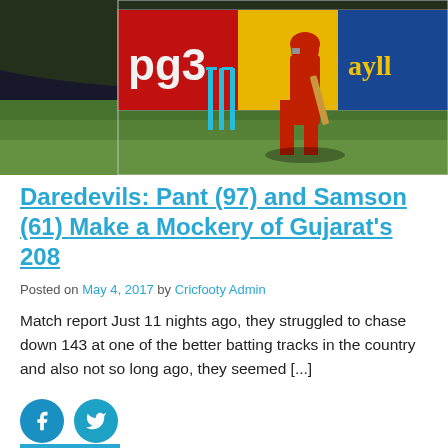[Figure (photo): Cricket match action photo showing stumps and a batsman in red uniform, with advertising boards in the background including pg3 in red and yellow text]
Daredevils: Pant (97) and Samson (61) Make a Mockery of Gujarat's 208
Posted on May 4, 2017 by Cricfooty Admin
Match report Just 11 nights ago, they struggled to chase down 143 at one of the better batting tracks in the country and also not so long ago, they seemed [...]